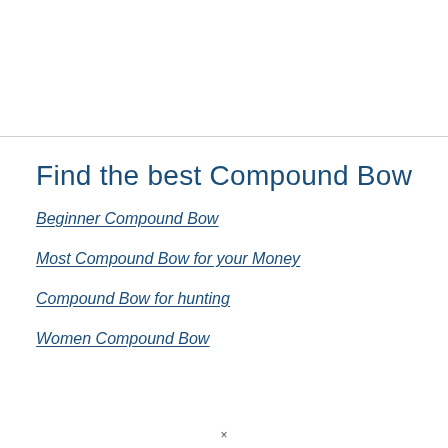Find the best Compound Bow
Beginner Compound Bow
Most Compound Bow for your Money
Compound Bow for hunting
Women Compound Bow
×